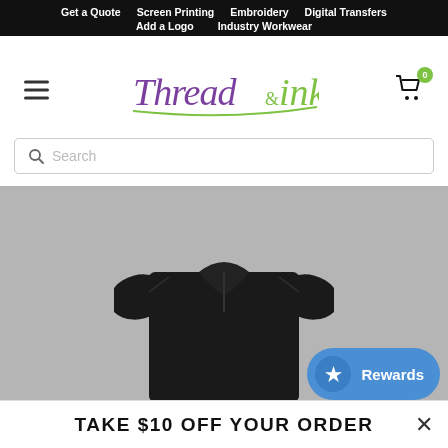Get a Quote  Screen Printing  Embroidery  Digital Transfers  Add a Logo  Industry Workwear
[Figure (logo): Thread&ink logo — 'Thread' in purple cursive, '&ink' in green cursive, with hamburger menu icon on the left and shopping cart (badge 0) on the right]
Search
[Figure (photo): Black short-sleeve polo/work shirt displayed on a grey background, no model visible, garment floats in center of hero banner area]
Rewards
TAKE $10 OFF YOUR ORDER  ×